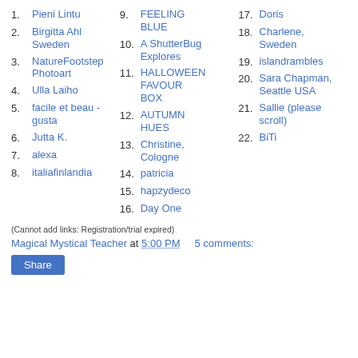1. Pieni Lintu
2. Birgitta Ahl Sweden
3. NatureFootstep Photoart
4. Ulla Laiho
5. facile et beau - gusta
6. Jutta K.
7. alexa
8. italiafinlandia
9. FEELING BLUE
10. A ShutterBug Explores
11. HALLOWEEN FAVOUR BOX
12. AUTUMN HUES
13. Christine, Cologne
14. patricia
15. hapzydeco
16. Day One
17. Doris
18. Charlene, Sweden
19. islandrambles
20. Sara Chapman, Seattle USA
21. Sallie (please scroll)
22. BiTi
(Cannot add links: Registration/trial expired)
Magical Mystical Teacher at 5:00 PM    5 comments:
Share